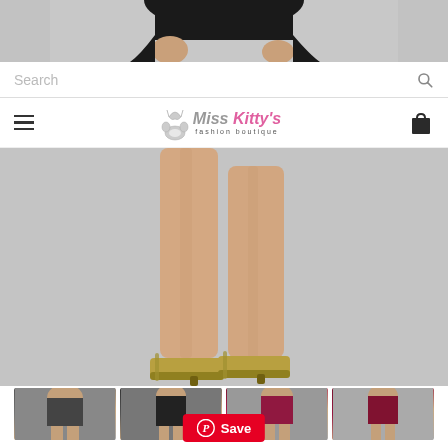[Figure (photo): Top portion of a model wearing a black outfit, cropped at waist, gray background]
[Figure (screenshot): Search bar with placeholder text 'Search' and magnifying glass icon on the right]
[Figure (logo): Miss Kitty's fashion boutique logo with cat silhouette, pink script text and hamburger menu and shopping bag icons]
[Figure (photo): Main product image showing model's legs in clear heels with yellow-green soles, gray background]
[Figure (photo): Four product thumbnail images showing models in black and burgundy rompers/playsuits]
[Figure (other): Pinterest Save button in red with Pinterest P logo]